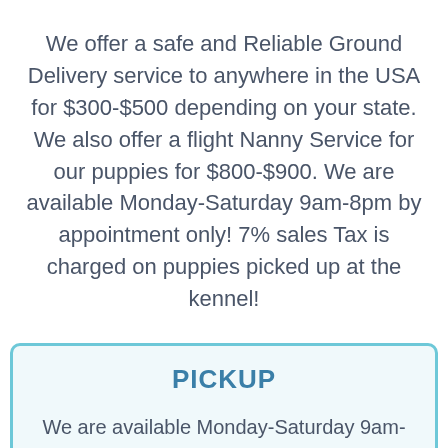We offer a safe and Reliable Ground Delivery service to anywhere in the USA for $300-$500 depending on your state. We also offer a flight Nanny Service for our puppies for $800-$900. We are available Monday-Saturday 9am-8pm by appointment only! 7% sales Tax is charged on puppies picked up at the kennel!
PICKUP
We are available Monday-Saturday 9am-8pm by appointment only! 7% sales Tax is charged on puppies picked up at the kennel! The pickup appointments allotted time is 20-30 minutes.